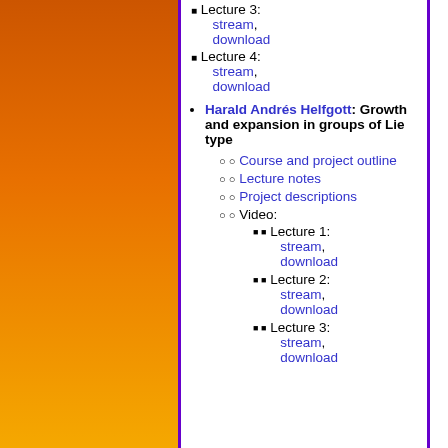Lecture 3: stream, download
Lecture 4: stream, download
Harald Andrés Helfgott: Growth and expansion in groups of Lie type
Course and project outline
Lecture notes
Project descriptions
Video: Lecture 1: stream, download
Lecture 2: stream, download
Lecture 3: stream, download